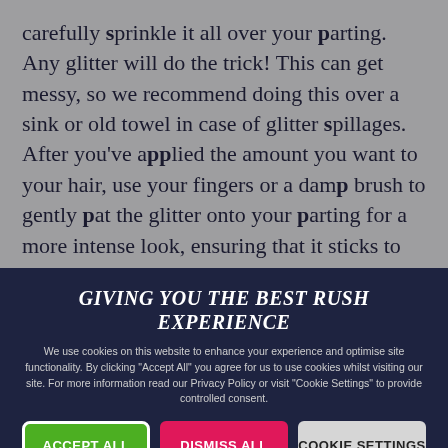carefully sprinkle it all over your parting. Any glitter will do the trick! This can get messy, so we recommend doing this over a sink or old towel in case of glitter spillages. After you've applied the amount you want to your hair, use your fingers or a damp brush to gently pat the glitter onto your parting for a more intense look, ensuring that it sticks to the hair. Depending on the effect you're after, you can add as much or as little glitter as
GIVING YOU THE BEST RUSH EXPERIENCE
We use cookies on this website to enhance your experience and optimise site functionality. By clicking "Accept All" you agree for us to use cookies whilst visiting our site. For more information read our Privacy Policy or visit "Cookie Settings" to provide controlled consent.